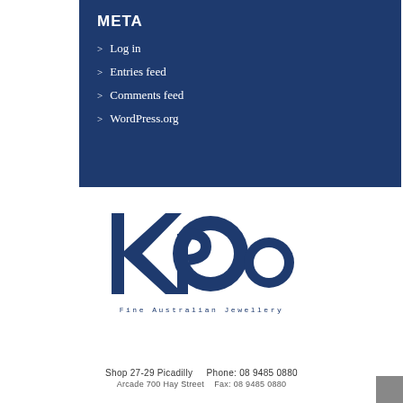META
Log in
Entries feed
Comments feed
WordPress.org
[Figure (logo): Koro Fine Australian Jewellery logo — stylized dark blue letters spelling KORO with circular elements, tagline 'Fine Australian Jewellery' below]
Shop 27-29 Picadilly    Phone: 08 9485 0880